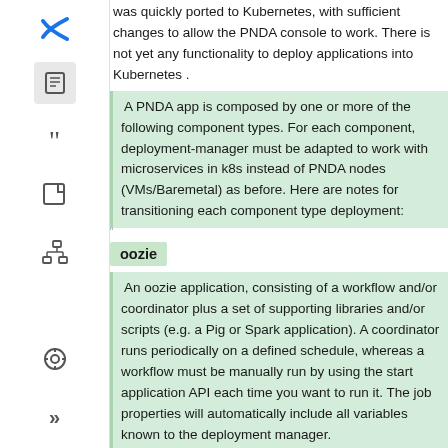was quickly ported to Kubernetes, with sufficient changes to allow the PNDA console to work. There is not yet any functionality to deploy applications into Kubernetes .
A PNDA app is composed by one or more of the following component types. For each component, deployment-manager must be adapted to work with microservices in k8s instead of PNDA nodes (VMs/Baremetal) as before. Here are notes for transitioning each component type deployment:
oozie
An oozie application, consisting of a workflow and/or coordinator plus a set of supporting libraries and/or scripts (e.g. a Pig or Spark application). A coordinator runs periodically on a defined schedule, whereas a workflow must be manually run by using the start application API each time you want to run it. The job properties will automatically include all variables known to the deployment manager.
Oozie has not been integrated in cloud-native PNDA